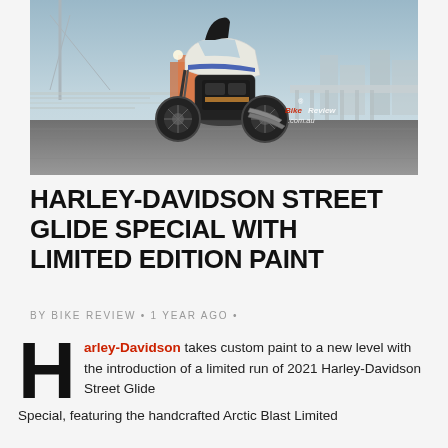[Figure (photo): A Harley-Davidson Street Glide Special motorcycle being ridden on a bridge or overpass, motion blur in background, city skyline visible, bikeReview.com.au watermark]
HARLEY-DAVIDSON STREET GLIDE SPECIAL WITH LIMITED EDITION PAINT
BY BIKE REVIEW • 1 YEAR AGO •
Harley-Davidson takes custom paint to a new level with the introduction of a limited run of 2021 Harley-Davidson Street Glide Special, featuring the handcrafted Arctic Blast Limited